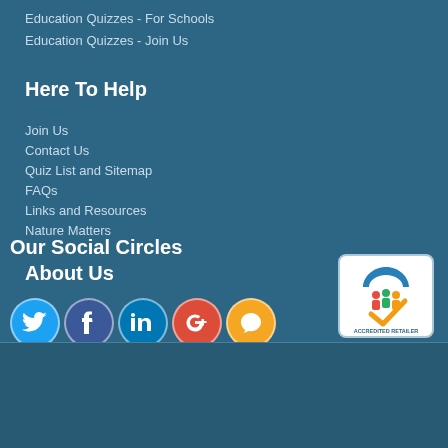Education Quizzes - For Schools
Education Quizzes - Join Us
Here To Help
Join Us
Contact Us
Quiz List and Sitemap
FAQs
Links and Resources
Nature Matters
Our Social Circles
About Us
[Figure (logo): Social media icons: Twitter, Facebook, LinkedIn, Google+, Chat]
[Figure (logo): The Retail Ombudsman Accredited Retailer badge]
Terms and Conditions
Privacy Policy
© Copyright 2016 - Education Quizzes
TJS - Web Design Lincolnshire